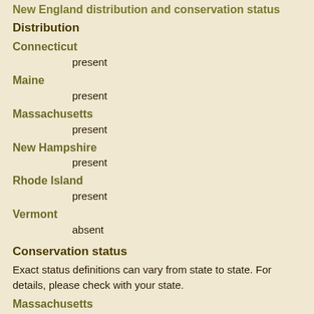New England distribution and conservation status
Distribution
Connecticut
present
Maine
present
Massachusetts
present
New Hampshire
present
Rhode Island
present
Vermont
absent
Conservation status
Exact status definitions can vary from state to state. For details, please check with your state.
Massachusetts
unranked (S rank: SNR)